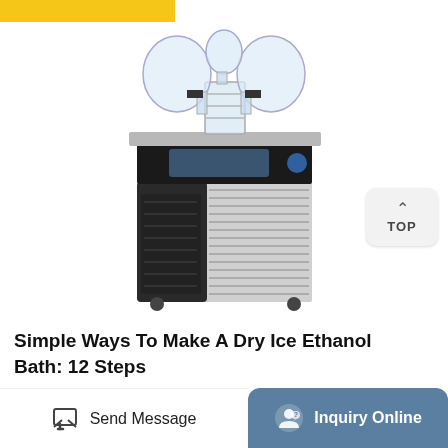[Figure (photo): Laboratory freeze dryer / lyophilizer machine with glass flask attachments on top, black and silver body with ventilation grilles, digital display panel, photographed on white background]
Simple Ways To Make A Dry Ice Ethanol Bath: 12 Steps
[Figure (other): Bottom action bar with 'Send Message' button on left and teal 'Inquiry Online' button on right]